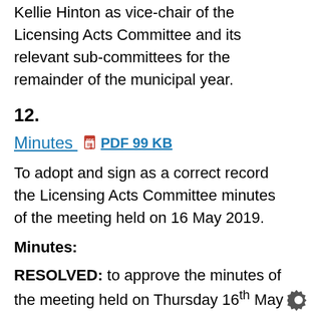Kellie Hinton as vice-chair of the Licensing Acts Committee and its relevant sub-committees for the remainder of the municipal year.
12.
Minutes   PDF 99 KB
To adopt and sign as a correct record the Licensing Acts Committee minutes of the meeting held on 16 May 2019.
Minutes:
RESOLVED: to approve the minutes of the meeting held on Thursday 16th May 2019 as a correct record and agree that the Chair sign these as such.